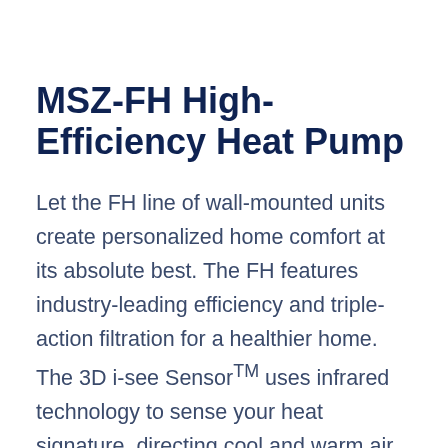MSZ-FH High-Efficiency Heat Pump
Let the FH line of wall-mounted units create personalized home comfort at its absolute best. The FH features industry-leading efficiency and triple-action filtration for a healthier home. The 3D i-see Sensor™ uses infrared technology to sense your heat signature, directing cool and warm air where it's needed most, and helping to save you